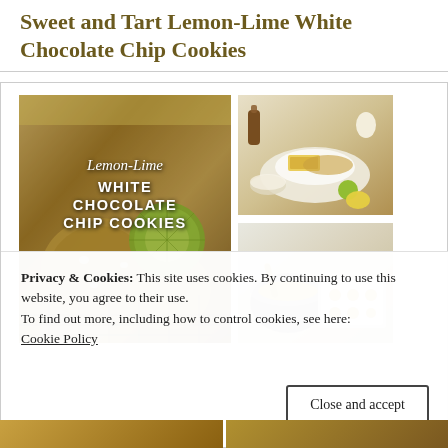Sweet and Tart Lemon-Lime White Chocolate Chip Cookies
[Figure (photo): Photo collage: left large photo shows lemon-lime white chocolate chip cookies on a wire rack with a lime slice and text overlay reading 'Lemon-Lime WHITE CHOCOLATE CHIP COOKIES'; top right photo shows baking ingredients laid out; bottom right photo shows mixing bowl with batter and baking sheet with cookie dough balls]
Privacy & Cookies: This site uses cookies. By continuing to use this website, you agree to their use.
To find out more, including how to control cookies, see here:
Cookie Policy
Close and accept